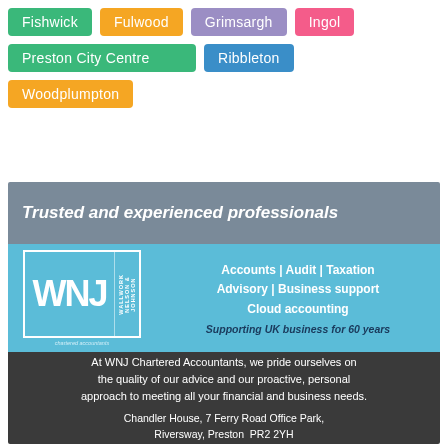Fishwick
Fulwood
Grimsargh
Ingol
Preston City Centre
Ribbleton
Woodplumpton
[Figure (infographic): WNJ Chartered Accountants advertisement. Top section shows 'Trusted and experienced professionals' on a dark background. Middle section has WNJ (Wallwork Nelson & Johnson) logo on blue background with services listed: Accounts | Audit | Taxation, Advisory | Business support, Cloud accounting, and tagline 'Supporting UK business for 60 years'. Bottom dark section reads: 'At WNJ Chartered Accountants, we pride ourselves on the quality of our advice and our proactive, personal approach to meeting all your financial and business needs.' Address: Chandler House, 7 Ferry Road Office Park, Riversway, Preston PR2 2YH]